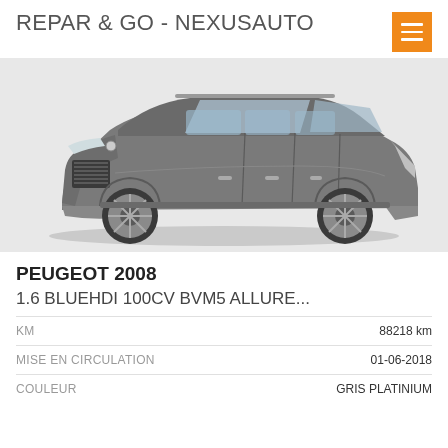REPAR & GO - NEXUSAUTO
[Figure (photo): Grey Peugeot 2008 SUV shown from a three-quarter front-left angle on a white background]
PEUGEOT 2008
1.6 BLUEHDI 100CV BVM5 ALLURE...
| Label | Value |
| --- | --- |
| KM | 88218 km |
| MISE EN CIRCULATION | 01-06-2018 |
| COULEUR | GRIS PLATINIUM |